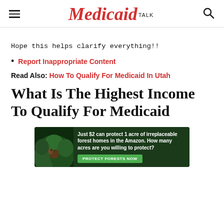Medicaid TALK
Hope this helps clarify everything!!
Report Inappropriate Content
Read Also: How To Qualify For Medicaid In Utah
What Is The Highest Income To Qualify For Medicaid
[Figure (infographic): Advertisement banner with forest/Amazon imagery. Text: Just $2 can protect 1 acre of irreplaceable forest homes in the Amazon. How many acres are you willing to protect? Button: PROTECT FORESTS NOW]